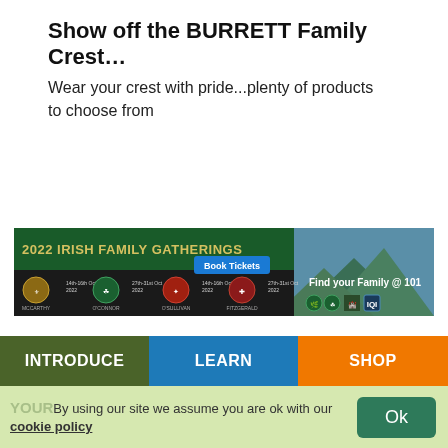Show off the BURRETT Family Crest…
Wear your crest with pride...plenty of products to choose from
[Figure (screenshot): 2022 Irish Family Gatherings banner advertisement showing family crests for McCarthy, O'Connor, O'Sullivan, and Fitzgerald with dates in October 2022 and a 'Book Tickets' button. Mountain landscape background. 'Find your Family @ 101' text on right side.]
INTRODUCE | LEARN | SHOP
YOUR By using our site we assume you are ok with our cookie policy